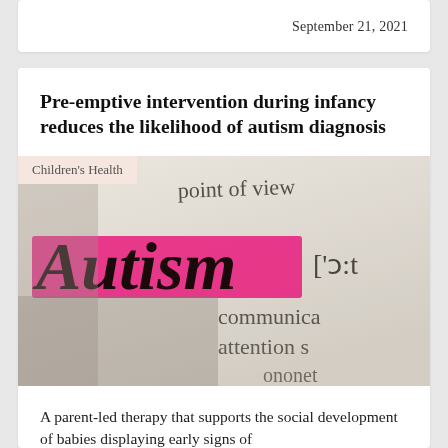September 21, 2021
Pre-emptive intervention during infancy reduces the likelihood of autism diagnosis
[Figure (photo): Dictionary page showing the word 'Autism' highlighted in pink/magenta marker, with phonetic notation and partial words 'point of view', 'communica', 'attention s', 'ononet' visible in the background. The image is taken at an angle with a shallow depth of field.]
Children's Health
A parent-led therapy that supports the social development of babies displaying early signs of